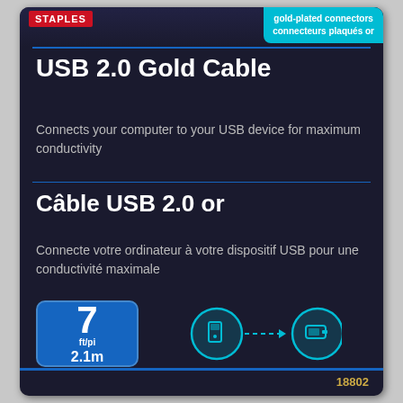[Figure (photo): Staples USB 2.0 Gold Cable product packaging. Dark navy/black background with Staples red logo, cyan gold-plated connectors badge, English and French product titles and descriptions, a blue size box showing 7 ft/pi 2.1m, computer-to-USB device icons with dashed arrow, and part number 18802.]
USB 2.0 Gold Cable
Connects your computer to your USB device for maximum conductivity
Câble USB 2.0 or
Connecte votre ordinateur à votre dispositif USB pour une conductivité maximale
7 ft/pi
2.1m
18802